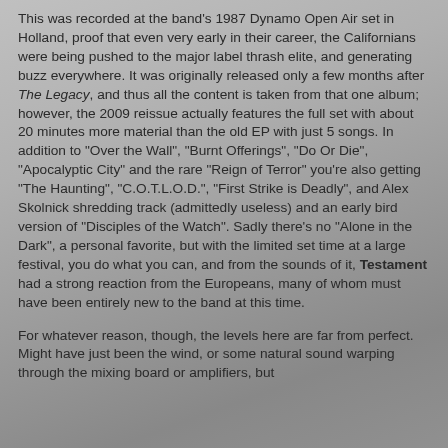This was recorded at the band's 1987 Dynamo Open Air set in Holland, proof that even very early in their career, the Californians were being pushed to the major label thrash elite, and generating buzz everywhere. It was originally released only a few months after The Legacy, and thus all the content is taken from that one album; however, the 2009 reissue actually features the full set with about 20 minutes more material than the old EP with just 5 songs. In addition to "Over the Wall", "Burnt Offerings", "Do Or Die", "Apocalyptic City" and the rare "Reign of Terror" you're also getting "The Haunting", "C.O.T.L.O.D.", "First Strike is Deadly", and Alex Skolnick shredding track (admittedly useless) and an early bird version of "Disciples of the Watch". Sadly there's no "Alone in the Dark", a personal favorite, but with the limited set time at a large festival, you do what you can, and from the sounds of it, Testament had a strong reaction from the Europeans, many of whom must have been entirely new to the band at this time.
For whatever reason, though, the levels here are far from perfect. Might have just been the wind, or some natural sound warping through the mixing board or amplifiers, but